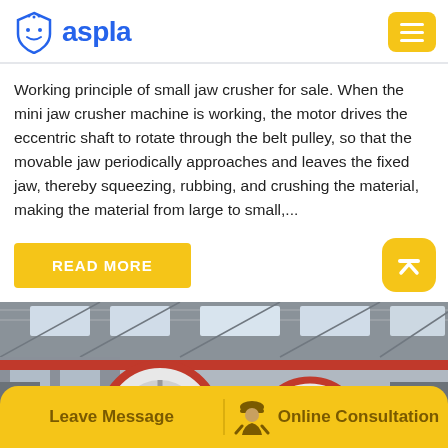[Figure (logo): Aspla brand logo with blue shield icon and blue text 'aspla', yellow hamburger menu button top right]
Working principle of small jaw crusher for sale. When the mini jaw crusher machine is working, the motor drives the eccentric shaft to rotate through the belt pulley, so that the movable jaw periodically approaches and leaves the fixed jaw, thereby squeezing, rubbing, and crushing the material, making the material from large to small,...
[Figure (other): Yellow 'READ MORE' button on left, yellow rounded scroll-to-top button with up arrow icon on right]
[Figure (photo): Factory interior photograph showing large red and white industrial crusher wheel/flywheel machinery in a manufacturing warehouse with steel roof structure]
[Figure (other): Yellow bottom bar with 'Leave Message' on left side and 'Online Consultation' with person icon on right side]